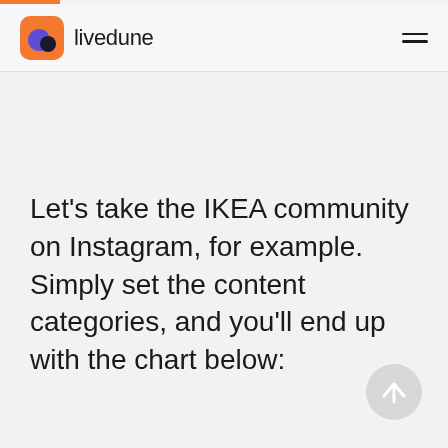livedune
Let's take the IKEA community on Instagram, for example. Simply set the content categories, and you'll end up with the chart below: